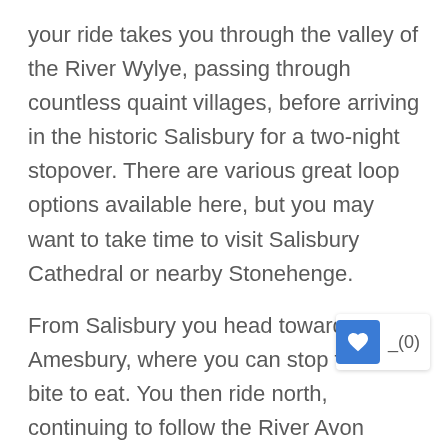your ride takes you through the valley of the River Wylye, passing through countless quaint villages, before arriving in the historic Salisbury for a two-night stopover. There are various great loop options available here, but you may want to take time to visit Salisbury Cathedral or nearby Stonehenge.
From Salisbury you head toward Amesbury, where you can stop for a bite to eat. You then ride north, continuing to follow the River Avon through a series of villages to Upavon, where you bear west, bypassing Pewsey and following a series of quiet country lanes to Devizes, for another two night stopover. Again, there are several loop options available from her _(0) varying difficulty. Potential stops can inclu ancient site of Avebury, Marlborough and the Kennet